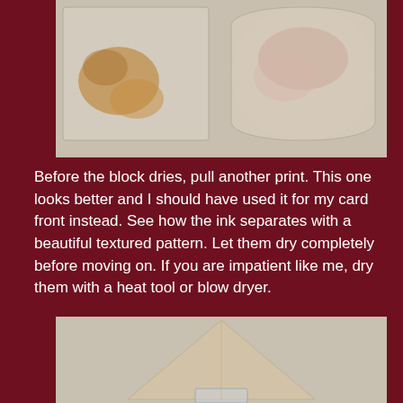[Figure (photo): Two rectangular print blocks/stamps with ink patterns on a light grey surface showing textured ink separation patterns — one showing orange-brown ink stain, the other showing a pinkish-beige pattern on a rounded rectangular form.]
Before the block dries, pull another print. This one looks better and I should have used it for my card front instead. See how the ink separates with a beautiful textured pattern. Let them dry completely before moving on. If you are impatient like me, dry them with a heat tool or blow dryer.
[Figure (photo): A triangular folded piece of light beige/tan paper or card being held or folded, with a glass or clear container partially visible at the bottom of the frame. Background is a light grey surface.]